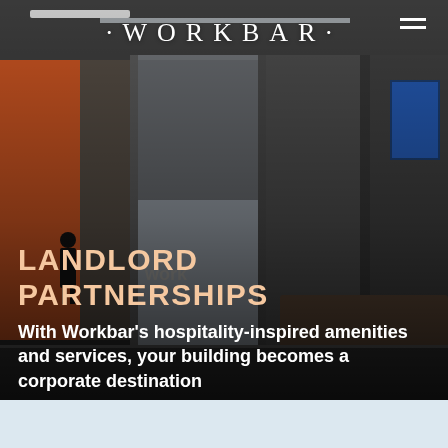[Figure (photo): Interior of a modern coworking office space with frosted glass partitions, orange accent wall on left, a man standing at the end of a conference table on the right, and a TV screen mounted on the wall. The image is used as a full-width background/hero photo.]
·WORKBAR·
LANDLORD PARTNERSHIPS
With Workbar's hospitality-inspired amenities and services, your building becomes a corporate destination